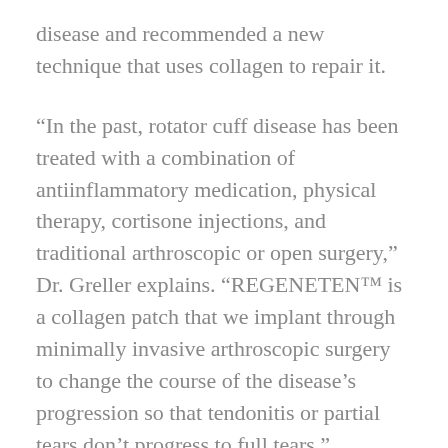disease and recommended a new technique that uses collagen to repair it.
“In the past, rotator cuff disease has been treated with a combination of antiinflammatory medication, physical therapy, cortisone injections, and traditional arthroscopic or open surgery,” Dr. Greller explains. “REGENETEN™ is a collagen patch that we implant through minimally invasive arthroscopic surgery to change the course of the disease’s progression so that tendonitis or partial tears don’t progress to full tears.”
Traditional open surgery, which uses anchors and sutures, can damage surrounding healthy